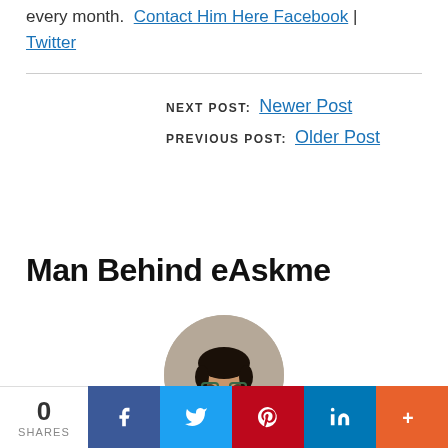every month. Contact Him Here Facebook | Twitter
NEXT POST: Newer Post
PREVIOUS POST: Older Post
Man Behind eAskme
[Figure (photo): Circular profile photo of a man with glasses and beard]
0 SHARES
[Figure (infographic): Social share bar with Facebook, Twitter, Pinterest, LinkedIn, and More buttons]